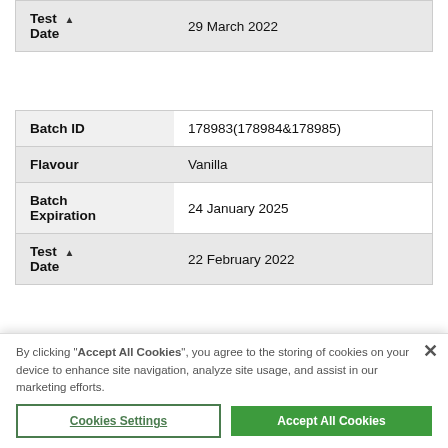| Field | Value |
| --- | --- |
| Test Date ▲ | 29 March 2022 |
| Field | Value |
| --- | --- |
| Batch ID | 178983(178984&178985) |
| Flavour | Vanilla |
| Batch Expiration | 24 January 2025 |
| Test Date ▲ | 22 February 2022 |
| Field | Value |
| --- | --- |
| Batch ID | 178388(178389&178390) |
By clicking "Accept All Cookies", you agree to the storing of cookies on your device to enhance site navigation, analyze site usage, and assist in our marketing efforts.